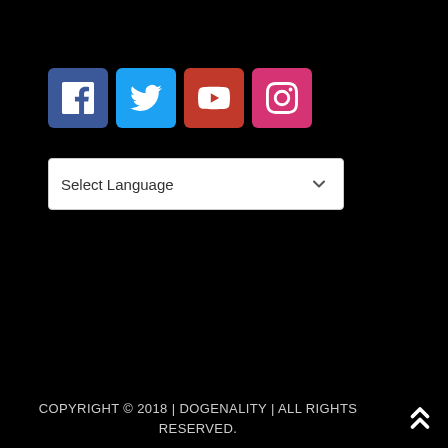[Figure (infographic): Four social media icon buttons: Facebook (blue), Twitter (light blue), YouTube (red), Instagram (pink/magenta)]
[Figure (other): Language selector dropdown showing 'Select Language' with a chevron arrow]
COPYRIGHT © 2018 | DOGENALITY | ALL RIGHTS RESERVED.